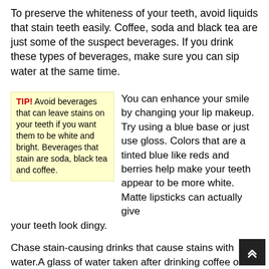To preserve the whiteness of your teeth, avoid liquids that stain teeth easily. Coffee, soda and black tea are just some of the suspect beverages. If you drink these types of beverages, make sure you can sip water at the same time.
TIP! Avoid beverages that can leave stains on your teeth if you want them to be white and bright. Beverages that stain are soda, black tea and coffee.
You can enhance your smile by changing your lip makeup. Try using a blue base or just use gloss. Colors that are a tinted blue like reds and berries help make your teeth appear to be more white. Matte lipsticks can actually give your teeth look dingy.
Chase stain-causing drinks that cause stains with water.A glass of water taken after drinking coffee or tea will keep their stain-causing agents from remaining on your teeth long enough to do any damage. You can also drink through a straw to lessen the chance of staining your teeth.
You should brush and floss...